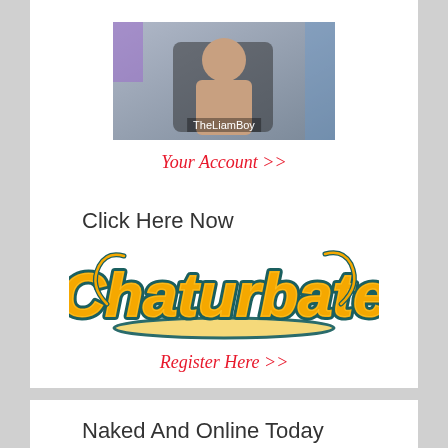[Figure (photo): Thumbnail image of a person (TheLiamBoy) in a chat streaming context]
Your Account >>
Click Here Now
[Figure (logo): Chaturbate logo in orange and teal script lettering]
Register Here >>
Naked And Online Today